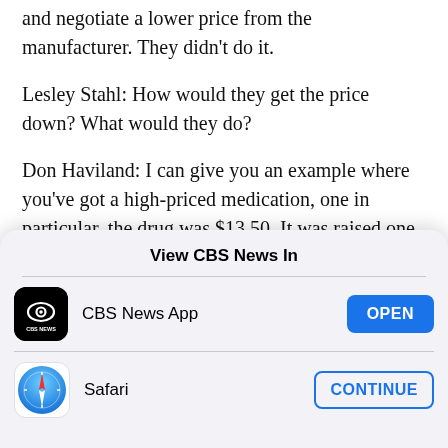and negotiate a lower price from the manufacturer. They didn't do it.
Lesley Stahl: How would they get the price down? What would they do?
Don Haviland: I can give you an example where you've got a high-priced medication, one in particular, the drug was $13.50. It was raised one day
View CBS News In
[Figure (screenshot): CBS News App row with black CBS News icon, label 'CBS News App', and blue OPEN button]
[Figure (screenshot): Safari row with Safari compass icon, label 'Safari', and outlined CONTINUE button]